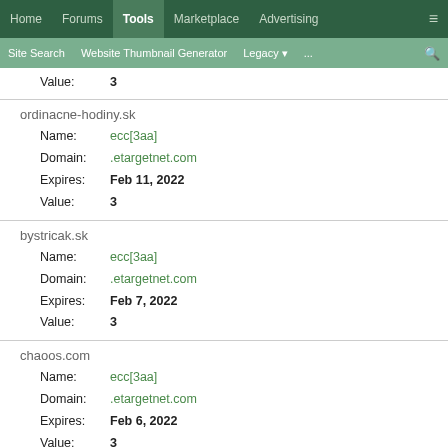Home | Forums | Tools | Marketplace | Advertising
Site Search | Website Thumbnail Generator | Legacy | ...
Value: 3
ordinacne-hodiny.sk
Name: ecc[3aa]
Domain: .etargetnet.com
Expires: Feb 11, 2022
Value: 3
bystricak.sk
Name: ecc[3aa]
Domain: .etargetnet.com
Expires: Feb 7, 2022
Value: 3
chaoos.com
Name: ecc[3aa]
Domain: .etargetnet.com
Expires: Feb 6, 2022
Value: 3
pisemblog.sk
Name: ecc[3aa]